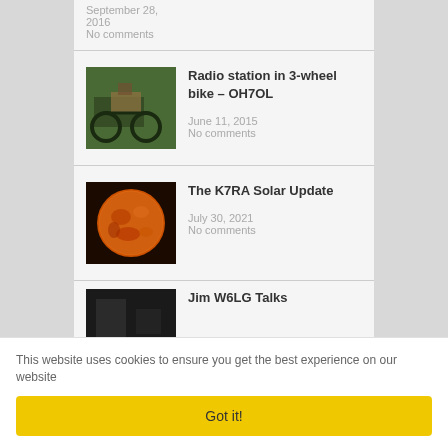September 28, 2016
No comments
Radio station in 3-wheel bike – OH7OL
June 11, 2015
No comments
[Figure (photo): Photo of a three-wheel bike with radio equipment mounted on it, parked on grass]
The K7RA Solar Update
July 30, 2021
No comments
[Figure (photo): Close-up image of the sun showing solar surface details in orange/amber tones]
Jim W6LG Talks
[Figure (photo): Partially visible dark photograph at bottom of page]
This website uses cookies to ensure you get the best experience on our website
Got it!